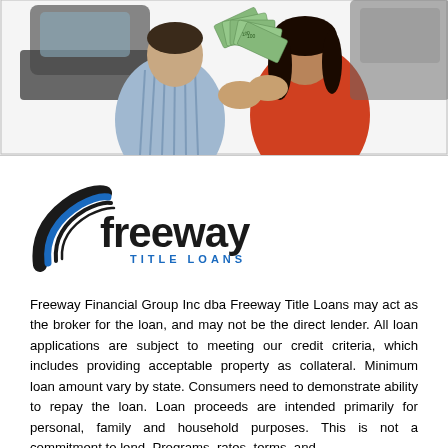[Figure (photo): Photo of a man and woman sitting together, the woman holding a fan of US hundred dollar bills, with what appears to be a car in the background.]
[Figure (logo): Freeway Title Loans logo: stylized road/speed lines graphic on the left in blue and black, with 'freeway' in large bold black text and 'TITLE LOANS' in smaller blue spaced capital letters below.]
Freeway Financial Group Inc dba Freeway Title Loans may act as the broker for the loan, and may not be the direct lender. All loan applications are subject to meeting our credit criteria, which includes providing acceptable property as collateral. Minimum loan amount vary by state. Consumers need to demonstrate ability to repay the loan. Loan proceeds are intended primarily for personal, family and household purposes. This is not a commitment to lend. Programs, rates, terms, and